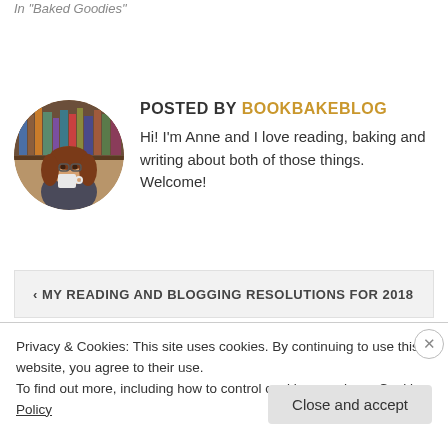In "Baked Goodies"
POSTED BY BOOKBAKEBLOG
Hi! I'm Anne and I love reading, baking and writing about both of those things. Welcome!
‹ MY READING AND BLOGGING RESOLUTIONS FOR 2018
WHY STRANGE THE DREAMER BY LAINI TAYLOR IS AN
Privacy & Cookies: This site uses cookies. By continuing to use this website, you agree to their use. To find out more, including how to control cookies, see here: Cookie Policy
Close and accept